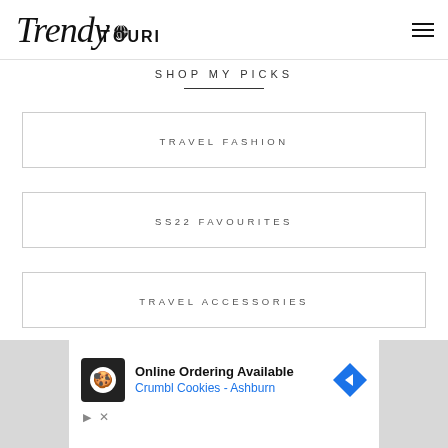Trendy Tourist
SHOP MY PICKS
TRAVEL FASHION
SS22 FAVOURITES
TRAVEL ACCESSORIES
[Figure (other): Advertisement for Crumbl Cookies - Ashburn: Online Ordering Available]
Online Ordering Available
Crumbl Cookies - Ashburn